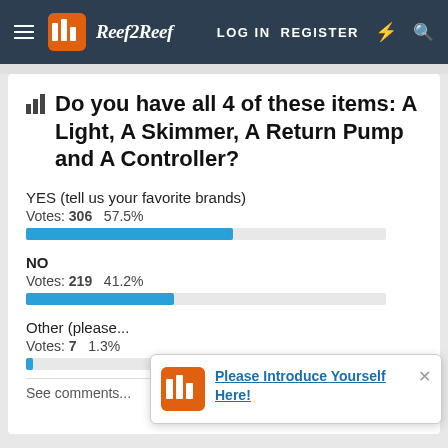Reef2Reef — LOG IN  REGISTER
Do you have all 4 of these items: A Light, A Skimmer, A Return Pump and A Controller?
[Figure (bar-chart): Poll results]
See comments...
[Figure (other): Popup notification: Please Introduce Yourself Here!]